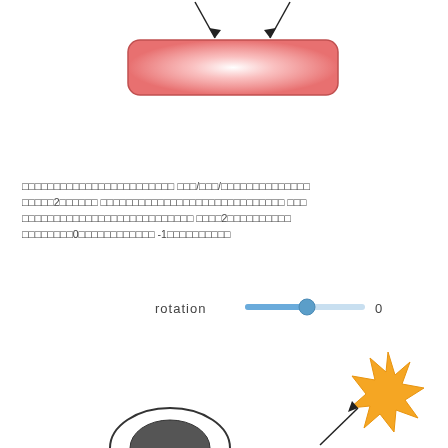[Figure (schematic): A pink/salmon rounded rectangle with two arrows pointing down to it from above. The rectangle has a radial gradient with a lighter center. A UI slider labeled 'rotation' with value '0' is shown below. At the bottom right is an orange starburst/sun shape with an arrow pointing toward it from the lower left.]